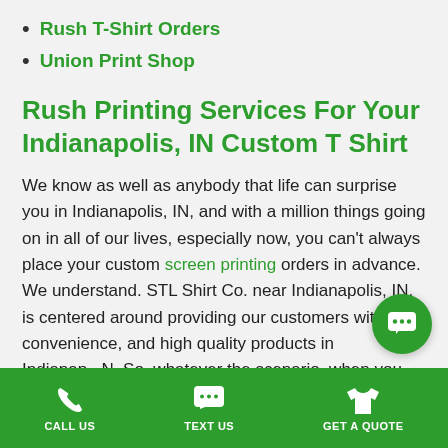Rush T-Shirt Orders
Union Print Shop
Rush Printing Services For Your Indianapolis, IN Custom T Shirt
We know as well as anybody that life can surprise you in Indianapolis, IN, and with a million things going on in all of our lives, especially now, you can't always place your custom screen printing orders in advance. We understand. STL Shirt Co. near Indianapolis, IN, is centered around providing our customers with sp convenience, and high quality products in Indianap N. So, whatever the scenario, when you need Indianapolis
CALL US   TEXT US   GET A QUOTE